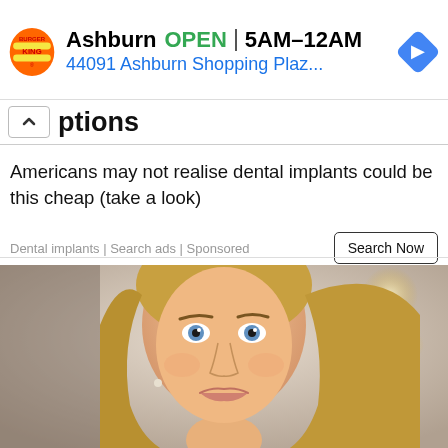[Figure (infographic): Burger King advertisement banner showing logo, location 'Ashburn', hours 'OPEN 5AM-12AM', address '44091 Ashburn Shopping Plaz...', and a blue navigation direction icon]
options
Americans may not realise dental implants could be this cheap (take a look)
Dental implants | Search ads | Sponsored
[Figure (photo): Portrait photo of a smiling blonde woman with blue eyes and wavy hair, wearing a dark top, with bokeh background lighting]